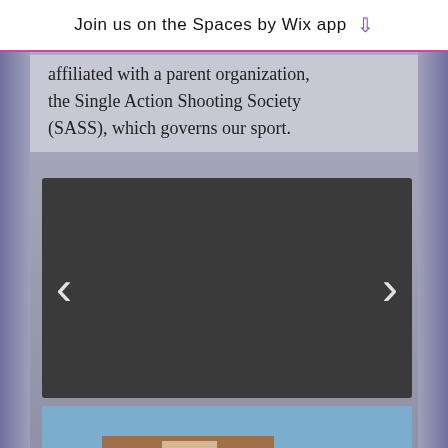Join us on the Spaces by Wix app
affiliated with a parent organization, the Single Action Shooting Society (SASS), which governs our sport.
[Figure (other): Dark image slider/carousel placeholder with left and right navigation arrows (chevrons)]
[Figure (photo): Two men wearing yellow shirts, red suspenders, and cowboy hats standing in front of a wooden bank facade prop at an outdoor shooting range. A sign reads BANK. White animal-shaped targets visible in background.]